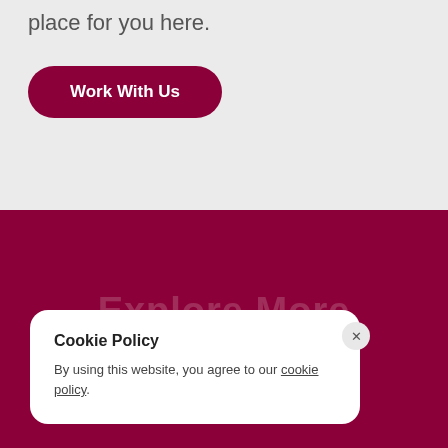place for you here.
Work With Us
Explore More
Cookie Policy
By using this website, you agree to our cookie policy.